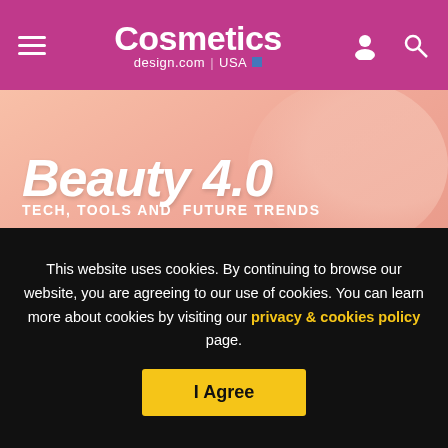Cosmetics design.com | USA
[Figure (infographic): Beauty 4.0 Tech, Tools and Future Trends - Register Now banner advertisement on pink/salmon background]
Little details
The DuPont awards consider innovation across the supply chain. And judges score entrants on technological advancements (like the “clever use of materials”), responsible
This website uses cookies. By continuing to browse our website, you are agreeing to our use of cookies. You can learn more about cookies by visiting our privacy & cookies policy page.